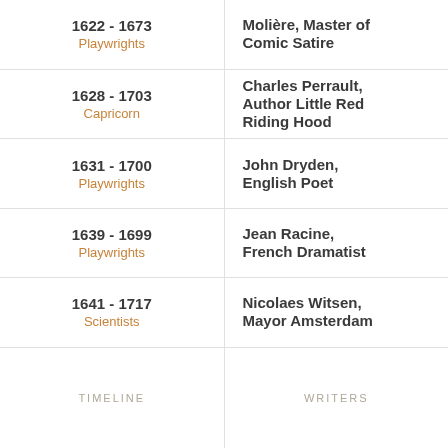| TIMELINE | WRITERS |
| --- | --- |
| 1622 - 1673
Playwrights | Molière, Master of Comic Satire |
| 1628 - 1703
Capricorn | Charles Perrault, Author Little Red Riding Hood |
| 1631 - 1700
Playwrights | John Dryden, English Poet |
| 1639 - 1699
Playwrights | Jean Racine, French Dramatist |
| 1641 - 1717
Scientists | Nicolaes Witsen, Mayor Amsterdam |